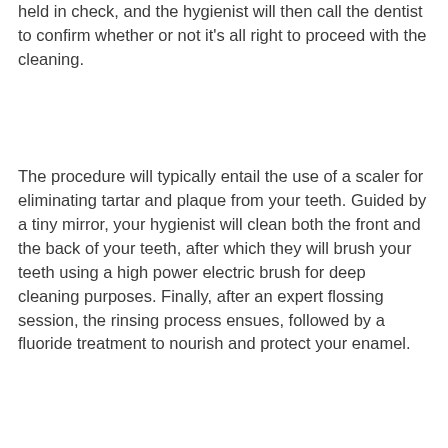held in check, and the hygienist will then call the dentist to confirm whether or not it's all right to proceed with the cleaning.
The procedure will typically entail the use of a scaler for eliminating tartar and plaque from your teeth. Guided by a tiny mirror, your hygienist will clean both the front and the back of your teeth, after which they will brush your teeth using a high power electric brush for deep cleaning purposes. Finally, after an expert flossing session, the rinsing process ensues, followed by a fluoride treatment to nourish and protect your enamel.